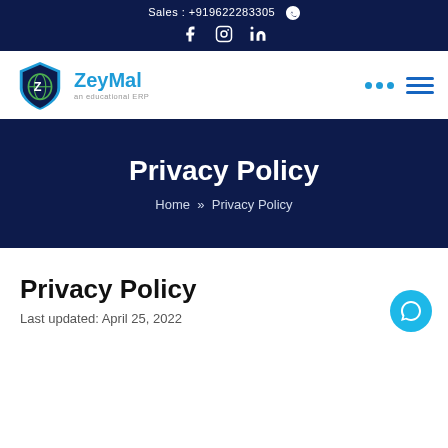Sales : +919622283305
[Figure (logo): ZeyMal an educational ERP logo with shield/globe icon in green and blue]
Privacy Policy
Home » Privacy Policy
Privacy Policy
Last updated: April 25, 2022